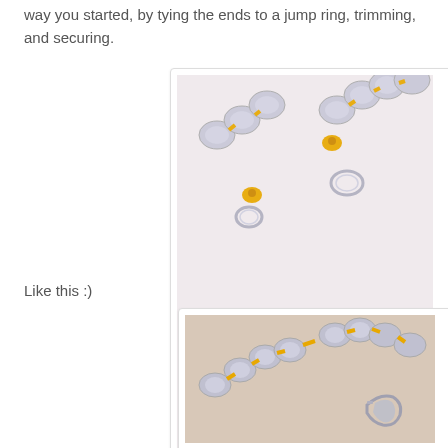way you started, by tying the ends to a jump ring, trimming, and securing.
[Figure (photo): Close-up photo of a handmade bracelet with clear oval beads woven with yellow cord/thread, showing two silver jump rings at the ends on a white surface.]
Like this :)
[Figure (photo): Close-up photo of a completed handmade bracelet with clear oval beads woven with yellow cord, showing a silver lobster clasp closure.]